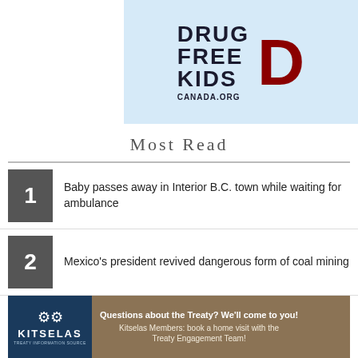[Figure (logo): Drug Free Kids Canada.org advertisement banner with large bold text and red D letter on light blue background]
Most Read
Baby passes away in Interior B.C. town while waiting for ambulance
Mexico's president revived dangerous form of coal mining
Two art heists, 50 years apart: expert says Canada is a
[Figure (logo): Kitselas Treaty Information Source advertisement: Questions about the Treaty? We'll come to you! Kitselas Members: book a home visit with the Treaty Engagement Team!]